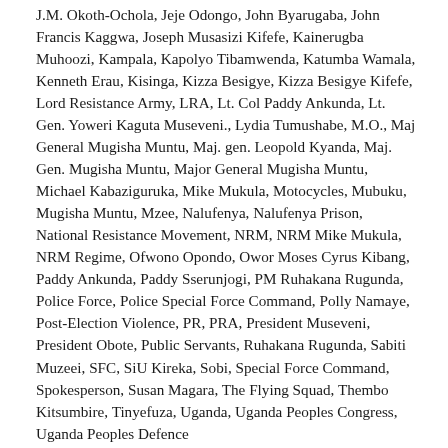J.M. Okoth-Ochola, Jeje Odongo, John Byarugaba, John Francis Kaggwa, Joseph Musasizi Kifefe, Kainerugba Muhoozi, Kampala, Kapolyo Tibamwenda, Katumba Wamala, Kenneth Erau, Kisinga, Kizza Besigye, Kizza Besigye Kifefe, Lord Resistance Army, LRA, Lt. Col Paddy Ankunda, Lt. Gen. Yoweri Kaguta Museveni., Lydia Tumushabe, M.O., Maj General Mugisha Muntu, Maj. gen. Leopold Kyanda, Maj. Gen. Mugisha Muntu, Major General Mugisha Muntu, Michael Kabaziguruka, Mike Mukula, Motocycles, Mubuku, Mugisha Muntu, Mzee, Nalufenya, Nalufenya Prison, National Resistance Movement, NRM, NRM Mike Mukula, NRM Regime, Ofwono Opondo, Owor Moses Cyrus Kibang, Paddy Ankunda, Paddy Sserunjogi, PM Ruhakana Rugunda, Police Force, Police Special Force Command, Polly Namaye, Post-Election Violence, PR, PRA, President Museveni, President Obote, Public Servants, Ruhakana Rugunda, Sabiti Muzeei, SFC, SiU Kireka, Sobi, Special Force Command, Spokesperson, Susan Magara, The Flying Squad, Thembo Kitsumbire, Tinyefuza, Uganda, Uganda Peoples Congress, Uganda Peoples Defence